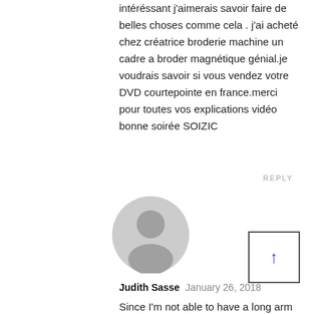intéréssant j'aimerais savoir faire de belles choses comme cela . j'ai acheté chez créatrice broderie machine un cadre a broder magnétique génial.je voudrais savoir si vous vendez votre DVD courtepointe en france.merci pour toutes vos explications vidéo bonne soirée SOIZIC
REPLY
[Figure (illustration): Generic grey user avatar icon showing a silhouette of a person]
Judith Sasse   January 26, 2018
Since I'm not able to have a long arm machine it would be a big help to be able to quilt with the embroidery